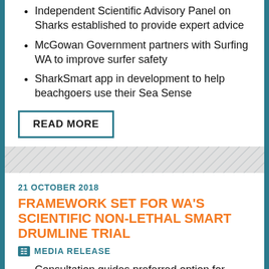Independent Scientific Advisory Panel on Sharks established to provide expert advice
McGowan Government partners with Surfing WA to improve surfer safety
SharkSmart app in development to help beachgoers use their Sea Sense
READ MORE
21 OCTOBER 2018
FRAMEWORK SET FOR WA'S SCIENTIFIC NON-LETHAL SMART DRUMLINE TRIAL
MEDIA RELEASE
Consultation guides preferred option for